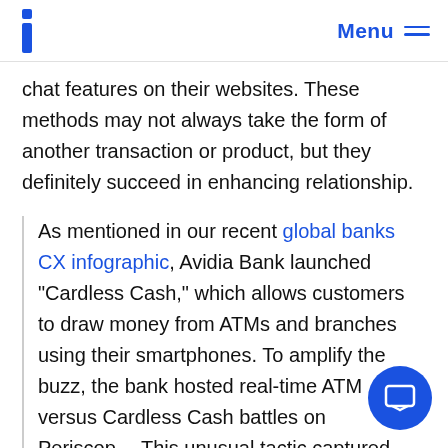Menu
chat features on their websites. These methods may not always take the form of another transaction or product, but they definitely succeed in enhancing relationship.
As mentioned in our recent global banks CX infographic, Avidia Bank launched “Cardless Cash,” which allows customers to draw money from ATMs and branches using their smartphones. To amplify the buzz, the bank hosted real-time ATM versus Cardless Cash battles on Periscope. This unusual tactic captured significant consumer attention, which allowed Avidia to identify and join